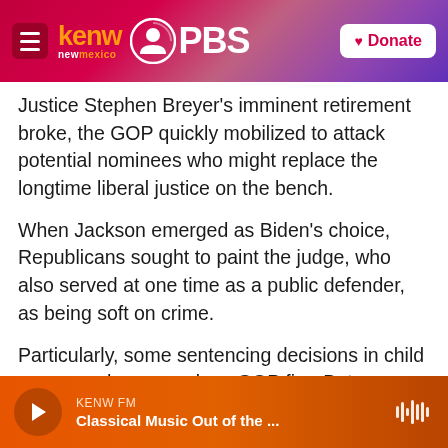KENW New Mexico PBS — Donate
Justice Stephen Breyer's imminent retirement broke, the GOP quickly mobilized to attack potential nominees who might replace the longtime liberal justice on the bench.
When Jackson emerged as Biden's choice, Republicans sought to paint the judge, who also served at one time as a public defender, as being soft on crime.
Particularly, some sentencing decisions in child pornography cases drew GOP fire. But Jackson's measured responses throughout the three days of
KENW FM — Classical Music Out of the ...